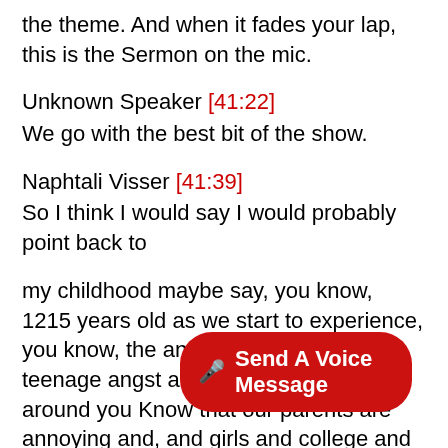the theme. And when it fades your lap, this is the Sermon on the mic.
Unknown Speaker [41:22]
We go with the best bit of the show.
Naphtali Visser [41:39]
So I think I would say I would probably point back to
my childhood maybe say, you know, 1215 years old as we start to experience, you know, the angst of life, right the the teenage angst and not only the stuff around you Know that our parents are annoying and, and girls and college and all that kind of stuff, but you know, but where's my life going? Right? And what does it all mean? and all that kind of stuff. And
of all that what we've been talking about here right